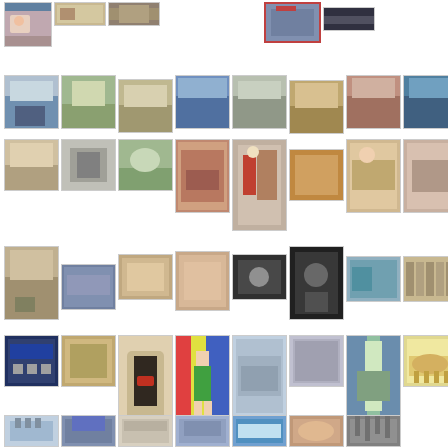[Figure (photo): Grid of photo thumbnails arranged in 6 rows, showing various subjects including murals, buildings, artwork, people, signs, and cityscapes]
[Figure (photo): Row 1: mural portrait, street sign, brown building, colored artwork, dark building]
[Figure (photo): Row 2: 8 building/architecture photos in a horizontal strip]
[Figure (photo): Row 3: 8 photos including buildings, artwork, religious painting, murals]
[Figure (photo): Row 4: 8 photos including murals, artwork, paintings, bookstore]
[Figure (photo): Row 5: 8 photos including signage, art, children, paintings]
[Figure (photo): Row 6: 7 photos including architecture, buildings, sky]